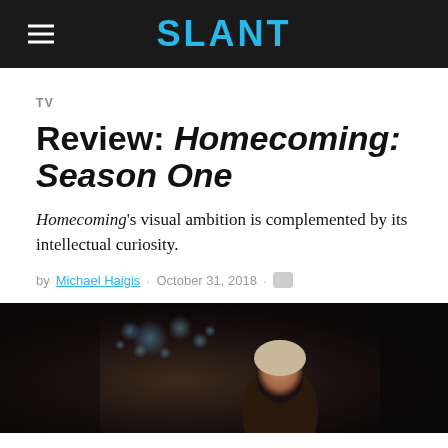SLANT
TV
Review: Homecoming: Season One
Homecoming's visual ambition is complemented by its intellectual curiosity.
by Michael Haigis · October 31, 2018 ·
[Figure (photo): Dark cinematic still from Homecoming showing a figure against a dim bokeh background]